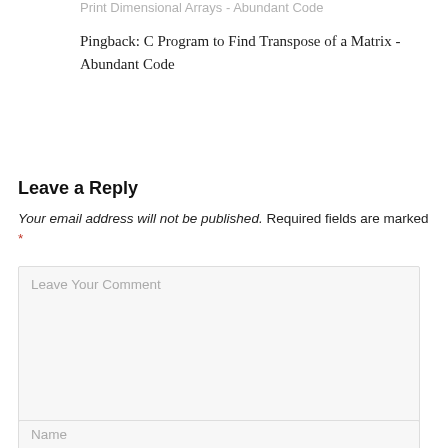Print Dimensional Arrays - Abundant Code
Pingback: C Program to Find Transpose of a Matrix - Abundant Code
Leave a Reply
Your email address will not be published. Required fields are marked *
Leave Your Comment
Name